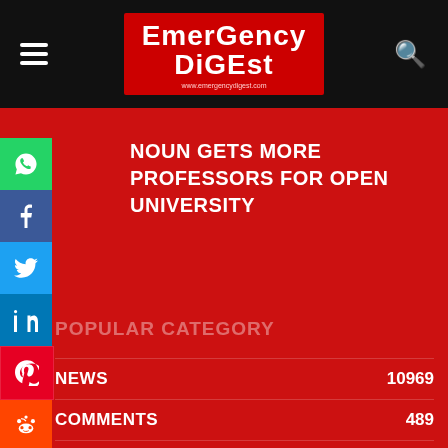Emergency Digest — www.emergencydigest.com
NOUN GETS MORE PROFESSORS FOR OPEN UNIVERSITY
POPULAR CATEGORY
| Category | Count |
| --- | --- |
| NEWS | 10969 |
| COMMENTS | 489 |
| GLOBAL | 335 |
| EVENT | 61 |
| RESPONDERS | 46 |
| PROFILE | 43 |
| INTERVIEW | 37 |